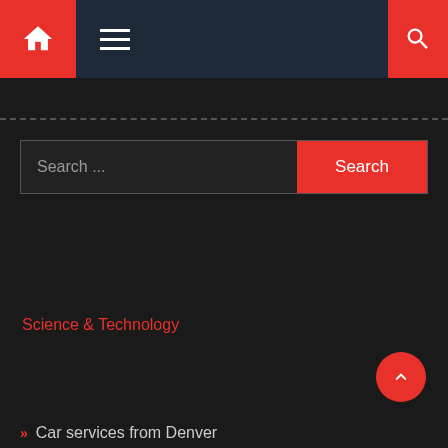Navigation bar with home icon, hamburger menu, and search icon
Search ...
VISIT NOW
Science & Technology
RECENT POSTS
Car services from Denver